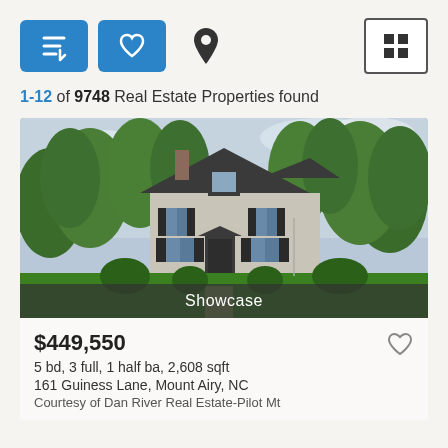[Figure (screenshot): Toolbar with sort button (blue, down-arrow lines icon), favorites button (blue, heart icon), map pin icon, and grid view button (bordered, 4 squares icon)]
1-12 of 9748 Real Estate Properties found
[Figure (photo): Photograph of a two-story colonial house with gray siding, dark shutters, surrounded by trees and green lawn. Has 'Showcase' label at bottom.]
$449,550
5 bd, 3 full, 1 half ba, 2,608 sqft
161 Guiness Lane, Mount Airy, NC
Courtesy of Dan River Real Estate-Pilot Mt